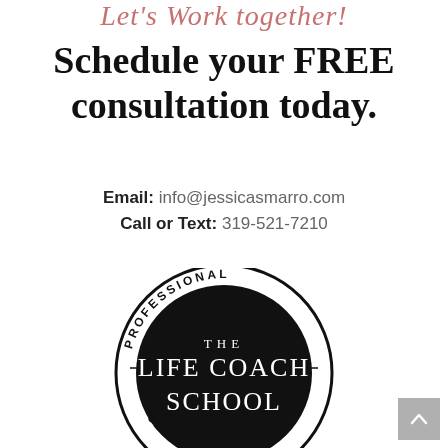Let's Work together!
Schedule your FREE consultation today.
Email: info@jessicasmarro.com
Call or Text: 319-521-7210
[Figure (logo): The Life Coach School professional certification seal — black circle with white text reading 'PROFESSIONAL' along the top arc, 'THE LIFE COACH SCHOOL' in the center, and 'CE___CH' along the bottom arc.]